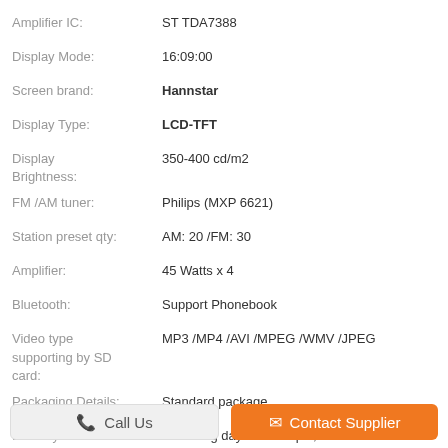| Attribute | Value |
| --- | --- |
| Amplifier IC: | ST TDA7388 |
| Display Mode: | 16:09:00 |
| Screen brand: | Hannstar |
| Display Type: | LCD-TFT |
| Display Brightness: | 350-400 cd/m2 |
| FM /AM tuner: | Philips (MXP 6621) |
| Station preset qty: | AM: 20 /FM: 30 |
| Amplifier: | 45 Watts x 4 |
| Bluetooth: | Support Phonebook |
| Video type supporting by SD card: | MP3 /MP4 /AVI /MPEG /WMV /JPEG |
| Packaging Details: | Standard package |
| Delivery Time: | 3 working days for sample,2 weeks for bulk order |
| Payment Terms: | TT,Paypal ,western union ,MoneyGram |
| Supply Ability: | 10000pcs/month |